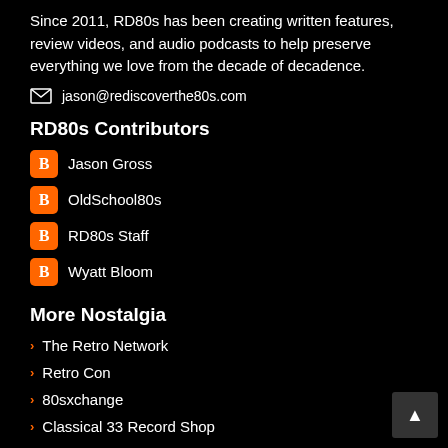Since 2011, RD80s has been creating written features, review videos, and audio podcasts to help preserve everything we love from the decade of decadence.
jason@rediscoverthe80s.com
RD80s Contributors
Jason Gross
OldSchool80s
RD80s Staff
Wyatt Bloom
More Nostalgia
The Retro Network
Retro Con
80sxchange
Classical 33 Record Shop
Agents of M.A.S.K.